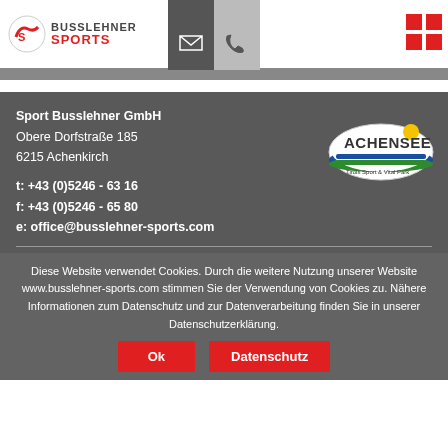[Figure (logo): Busslehner Sports logo with red S icon and text BUSSLEHNER SPORTS]
[Figure (logo): Achensee Tirol Sport & Vital Park oval logo]
Sport Busslehner GmbH
Obere Dorfstraße 185
6215 Achenkirch

t: +43 (0)5246 - 63 16
f: +43 (0)5246 - 65 80
e: office@busslehner-sports.com
Diese Website verwendet Cookies. Durch die weitere Nutzung unserer Website www.busslehner-sports.com stimmen Sie der Verwendung von Cookies zu. Nähere Informationen zum Datenschutz und zur Datenverarbeitung finden Sie in unserer Datenschutzerklärung.